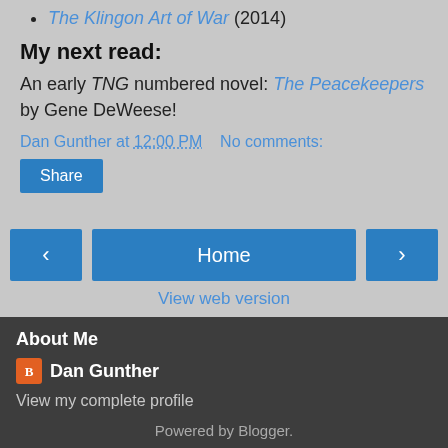The Klingon Art of War (2014)
My next read:
An early TNG numbered novel: The Peacekeepers by Gene DeWeese!
Dan Gunther at 12:00 PM   No comments:
Share
< Home >
View web version
About Me
Dan Gunther
View my complete profile
Powered by Blogger.